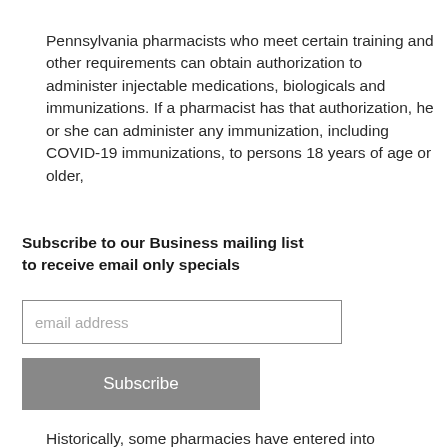Pennsylvania pharmacists who meet certain training and other requirements can obtain authorization to administer injectable medications, biologicals and immunizations. If a pharmacist has that authorization, he or she can administer any immunization, including COVID-19 immunizations, to persons 18 years of age or older,
Subscribe to our Business mailing list to receive email only specials
email address
Subscribe
Historically, some pharmacies have entered into arrangements with physicians in order to receive reimbursement for flu shots and other vaccinations. Many pharmacies, however, do not have an